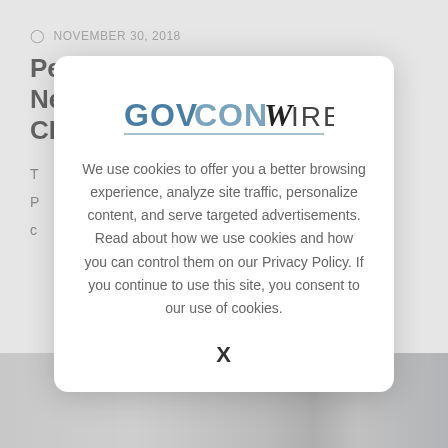NOVEMBER 30, 2018
Peraton Names Alan Stewart New EVP & CFO; Stu Shea Quoted
T
P
c
[Figure (logo): GovConWire logo in blue and gray text with underline]
We use cookies to offer you a better browsing experience, analyze site traffic, personalize content, and serve targeted advertisements. Read about how we use cookies and how you can control them on our Privacy Policy. If you continue to use this site, you consent to our use of cookies.
X